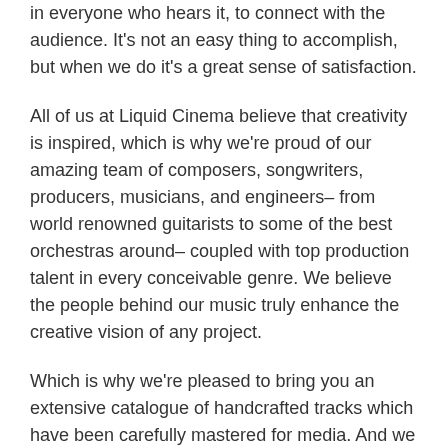in everyone who hears it, to connect with the audience. It's not an easy thing to accomplish, but when we do it's a great sense of satisfaction.
All of us at Liquid Cinema believe that creativity is inspired, which is why we're proud of our amazing team of composers, songwriters, producers, musicians, and engineers– from world renowned guitarists to some of the best orchestras around– coupled with top production talent in every conceivable genre. We believe the people behind our music truly enhance the creative vision of any project.
Which is why we're pleased to bring you an extensive catalogue of handcrafted tracks which have been carefully mastered for media. And we continue every day to create music that will drive your story forward. So grab a cup of coffee, hang around a while, and enjoy a listen.